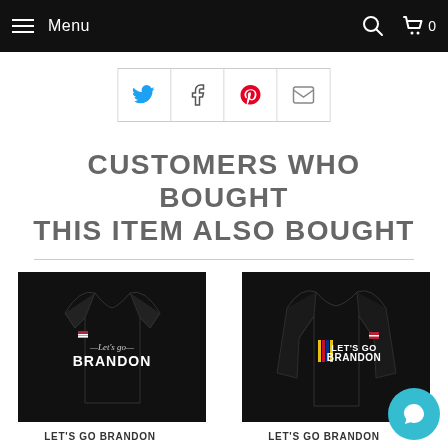Menu | Search | Cart 0
[Figure (other): Social share buttons: Twitter, Facebook, Pinterest, Email]
CUSTOMERS WHO BOUGHT THIS ITEM ALSO BOUGHT
[Figure (photo): Black women's t-shirt with 'Let's Go Brandon' text and graphic design]
[Figure (photo): Black long-sleeve shirt with NASCAR-style 'LET'S GO BRANDON' text in red, yellow, blue stripes]
LET'S GO BRANDON
LET'S GO BRANDON